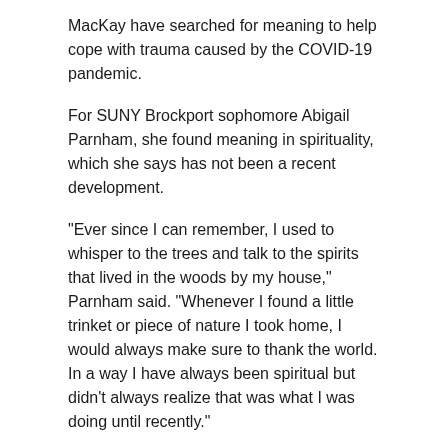MacKay have searched for meaning to help cope with trauma caused by the COVID-19 pandemic.
For SUNY Brockport sophomore Abigail Parnham, she found meaning in spirituality, which she says has not been a recent development.
“Ever since I can remember, I used to whisper to the trees and talk to the spirits that lived in the woods by my house,” Parnham said. “Whenever I found a little trinket or piece of nature I took home, I would always make sure to thank the world. In a way I have always been spiritual but didn’t always realize that was what I was doing until recently.”
Spirituality has many different forms. It gives religious freedom to the individual to determine what they truly believe in or not.
While spirituality has helped Parnham, college students like Monroe Community College (MCC) junior Gordon MacKay “reconnected to the earth” and found meaning in nature.
“During the start of the pandemic, once things got really bad, I